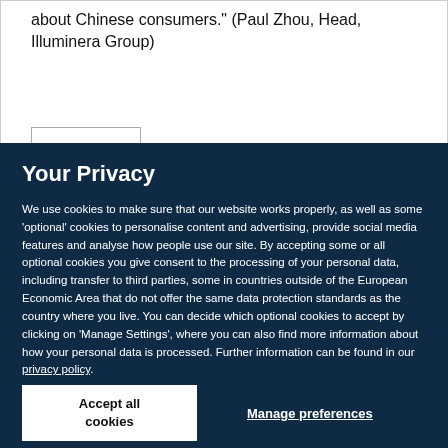about Chinese consumers." (Paul Zhou, Head, Illuminera Group)
Your Privacy
We use cookies to make sure that our website works properly, as well as some 'optional' cookies to personalise content and advertising, provide social media features and analyse how people use our site. By accepting some or all optional cookies you give consent to the processing of your personal data, including transfer to third parties, some in countries outside of the European Economic Area that do not offer the same data protection standards as the country where you live. You can decide which optional cookies to accept by clicking on 'Manage Settings', where you can also find more information about how your personal data is processed. Further information can be found in our privacy policy.
Accept all cookies
Manage preferences